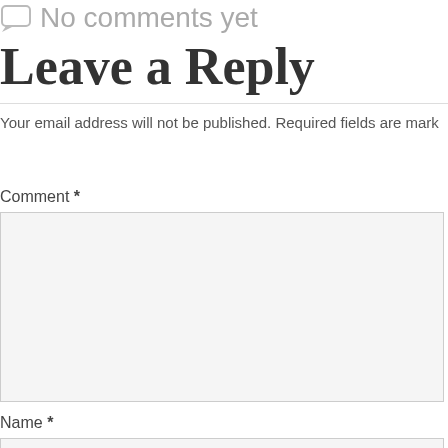No comments yet
Leave a Reply
Your email address will not be published. Required fields are mark
Comment *
Name *